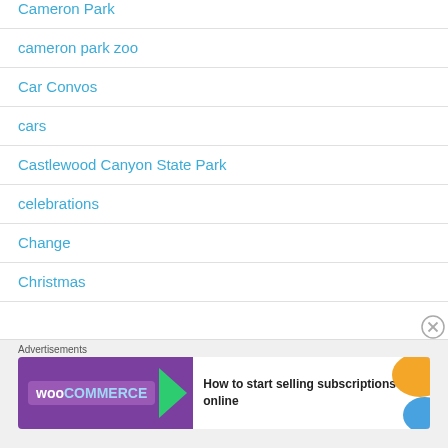Cameron Park
cameron park zoo
Car Convos
cars
Castlewood Canyon State Park
celebrations
Change
Christmas
[Figure (screenshot): WooCommerce advertisement banner: How to start selling subscriptions online]
Advertisements